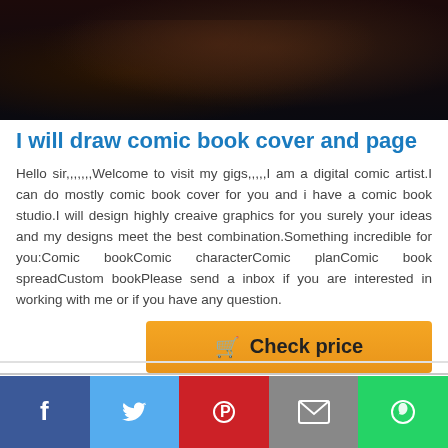[Figure (illustration): Comic book artwork showing a dark scene with a character, dark background with reddish-brown tones]
I will draw comic book cover and page
Hello sir,,,,,,,Welcome to visit my gigs,,,,,I am a digital comic artist.I can do mostly comic book cover for you and i have a comic book studio.I will design highly creaive graphics for you surely your ideas and my designs meet the best combination.Something incredible for you:Comic bookComic characterComic planComic book spreadCustom bookPlease send a inbox if you are interested in working with me or if you have any question.
[Figure (other): Orange 'Check price' button with shopping cart icon]
Social share bar with Facebook, Twitter, Pinterest, Email, WhatsApp buttons